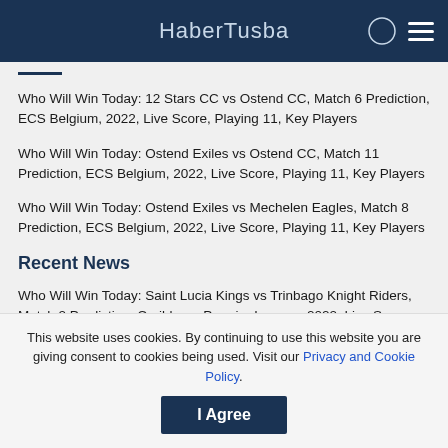HaberTusba
Who Will Win Today: 12 Stars CC vs Ostend CC, Match 6 Prediction, ECS Belgium, 2022, Live Score, Playing 11, Key Players
Who Will Win Today: Ostend Exiles vs Ostend CC, Match 11 Prediction, ECS Belgium, 2022, Live Score, Playing 11, Key Players
Who Will Win Today: Ostend Exiles vs Mechelen Eagles, Match 8 Prediction, ECS Belgium, 2022, Live Score, Playing 11, Key Players
Recent News
Who Will Win Today: Saint Lucia Kings vs Trinbago Knight Riders, Match 2 Prediction, Caribbean Premier League, 2022, Live Score,
This website uses cookies. By continuing to use this website you are giving consent to cookies being used. Visit our Privacy and Cookie Policy.